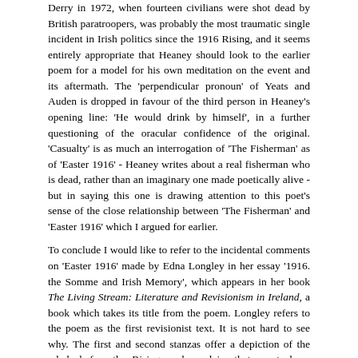Derry in 1972, when fourteen civilians were shot dead by British paratroopers, was probably the most traumatic single incident in Irish politics since the 1916 Rising, and it seems entirely appropriate that Heaney should look to the earlier poem for a model for his own meditation on the event and its aftermath. The 'perpendicular pronoun' of Yeats and Auden is dropped in favour of the third person in Heaney's opening line: 'He would drink by himself', in a further questioning of the oracular confidence of the original. 'Casualty' is as much an interrogation of 'The Fisherman' as of 'Easter 1916' - Heaney writes about a real fisherman who is dead, rather than an imaginary one made poetically alive - but in saying this one is drawing attention to this poet's sense of the close relationship between 'The Fisherman' and 'Easter 1916' which I argued for earlier.
To conclude I would like to refer to the incidental comments on 'Easter 1916' made by Edna Longley in her essay '1916. the Somme and Irish Memory', which appears in her book The Living Stream: Literature and Revisionism in Ireland, a book which takes its title from the poem. Longley refers to the poem as the first revisionist text. It is not hard to see why. The first and second stanzas offer a depiction of the rebels before the Rising, and proclaim that events have forced the speaker to revise his his opinion of them. Stanzas Three proceeds to implicitly revise that revision, while Stanza Four seeks to find a balalnce between the two revised views of the rebels.
[ close ]   [ top ]